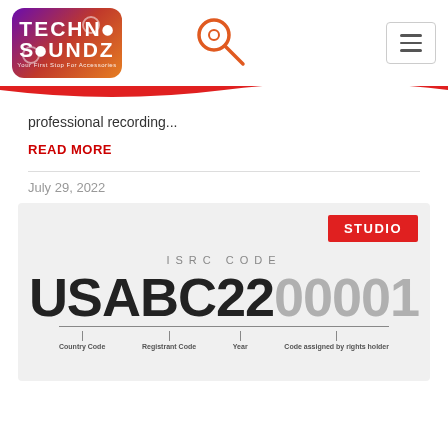[Figure (logo): Techno Soundz logo with gradient purple-red-orange background, music disc icons]
professional recording...
READ MORE
July 29, 2022
[Figure (infographic): ISRC Code diagram showing USABC2200001 broken down into Country Code (US), Registrant Code (ABC), Year (22), and Code assigned by rights holder (00001), with a STUDIO badge in red top-right]